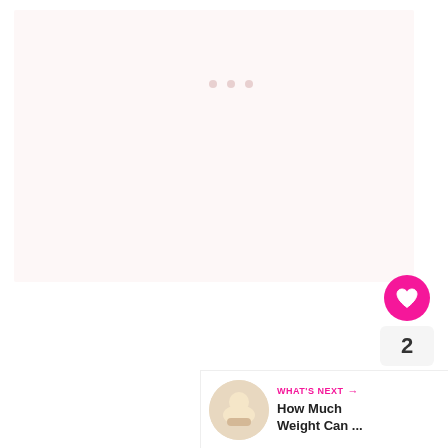[Figure (other): Large light pinkish-white content area with three small dots, representing a loading or placeholder image block]
[Figure (other): Pink circular like/heart button with heart icon]
2
[Figure (other): Light gray circular share button with share icon]
[Figure (other): What's Next banner with thumbnail image of baby and text 'WHAT'S NEXT → How Much Weight Can ...']